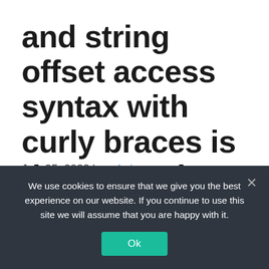and string offset access syntax with curly braces is deprecated
July 25, 2022 by admin
[Figure (illustration): Orange diamond/arrow shape partially visible at bottom of page]
We use cookies to ensure that we give you the best experience on our website. If you continue to use this site we will assume that you are happy with it.
Ok